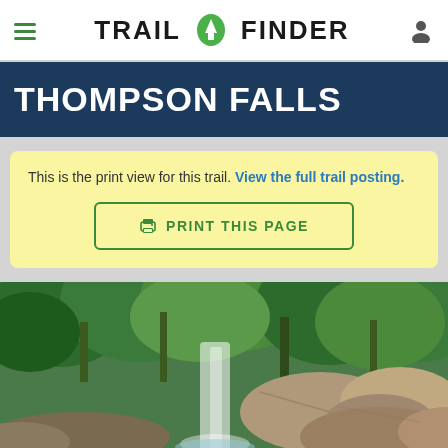TRAIL FINDER
THOMPSON FALLS
This is the print view for this trail. View the full trail posting.
PRINT THIS PAGE
[Figure (photo): Waterfall cascading over rocks surrounded by dense green forest trees]